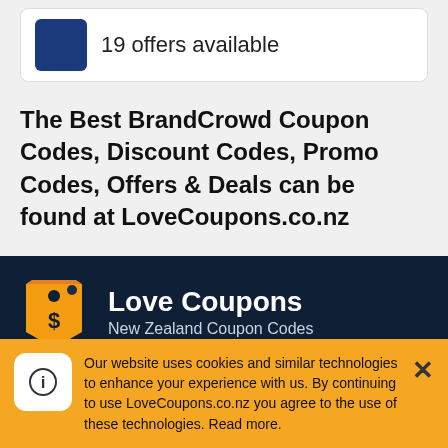19 offers available
The Best BrandCrowd Coupon Codes, Discount Codes, Promo Codes, Offers & Deals can be found at LoveCoupons.co.nz
Love Coupons
New Zealand Coupon Codes
Website Info
Our website uses cookies and similar technologies to enhance your experience with us. By continuing to use LoveCoupons.co.nz you agree to the use of these technologies. Read more.